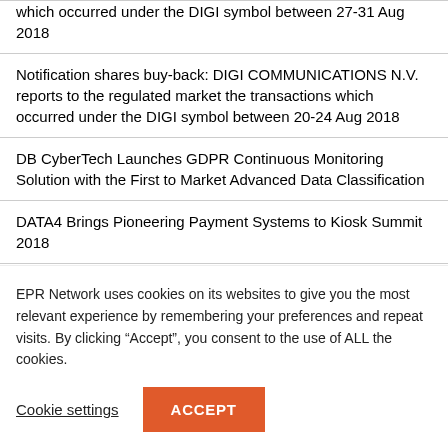which occurred under the DIGI symbol between 27-31 Aug 2018
Notification shares buy-back: DIGI COMMUNICATIONS N.V. reports to the regulated market the transactions which occurred under the DIGI symbol between 20-24 Aug 2018
DB CyberTech Launches GDPR Continuous Monitoring Solution with the First to Market Advanced Data Classification
DATA4 Brings Pioneering Payment Systems to Kiosk Summit 2018
EPR Network uses cookies on its websites to give you the most relevant experience by remembering your preferences and repeat visits. By clicking “Accept”, you consent to the use of ALL the cookies.
Cookie settings   ACCEPT